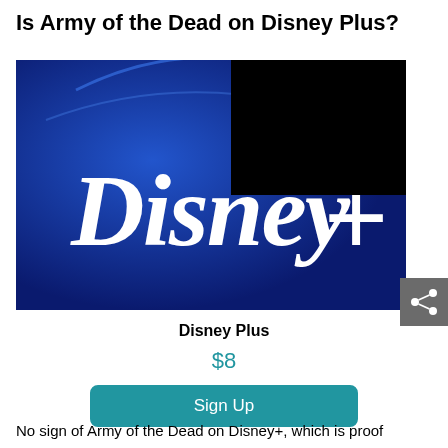Is Army of the Dead on Disney Plus?
[Figure (logo): Disney Plus logo on dark blue background with black redaction box in upper right corner]
Disney Plus
$8
Sign Up
No sign of Army of the Dead on Disney+, which is proof